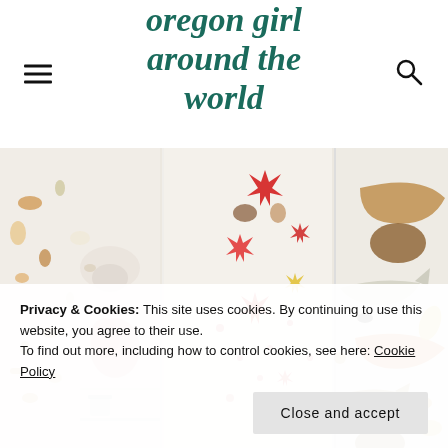oregon girl around the world
[Figure (photo): Museum display wall showing mounted specimens of sea creatures including starfish, rays, shells, sponges, and fish arranged in panels with glass display cases]
Privacy & Cookies: This site uses cookies. By continuing to use this website, you agree to their use.
To find out more, including how to control cookies, see here: Cookie Policy
Close and accept